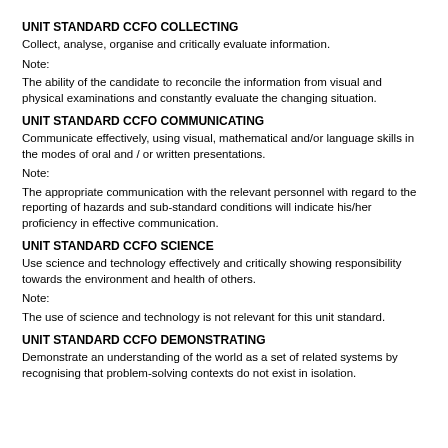UNIT STANDARD CCFO COLLECTING
Collect, analyse, organise and critically evaluate information.
Note:
The ability of the candidate to reconcile the information from visual and physical examinations and constantly evaluate the changing situation.
UNIT STANDARD CCFO COMMUNICATING
Communicate effectively, using visual, mathematical and/or language skills in the modes of oral and / or written presentations.
Note:
The appropriate communication with the relevant personnel with regard to the reporting of hazards and sub-standard conditions will indicate his/her proficiency in effective communication.
UNIT STANDARD CCFO SCIENCE
Use science and technology effectively and critically showing responsibility towards the environment and health of others.
Note:
The use of science and technology is not relevant for this unit standard.
UNIT STANDARD CCFO DEMONSTRATING
Demonstrate an understanding of the world as a set of related systems by recognising that problem-solving contexts do not exist in isolation.